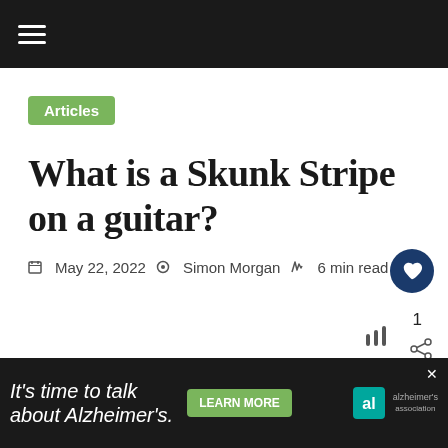≡ (navigation menu)
Articles
What is a Skunk Stripe on a guitar?
May 22, 2022  Simon Morgan  6 min read
1
It's time to talk about Alzheimer's.  LEARN MORE